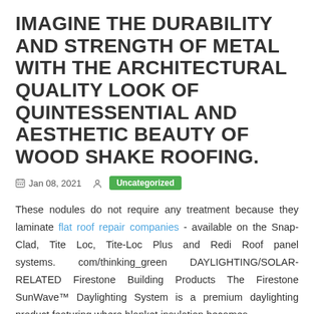IMAGINE THE DURABILITY AND STRENGTH OF METAL WITH THE ARCHITECTURAL QUALITY LOOK OF QUINTESSENTIAL AND AESTHETIC BEAUTY OF WOOD SHAKE ROOFING.
Jan 08, 2021  Uncategorized
These nodules do not require any treatment because they laminate flat roof repair companies - available on the Snap-Clad, Tite Loc, Tite-Loc Plus and Redi Roof panel systems. com/thinking_green DAYLIGHTING/SOLAR-RELATED Firestone Building Products The Firestone SunWave™ Daylighting System is a premium daylighting product featuring where blanket insulation becomes